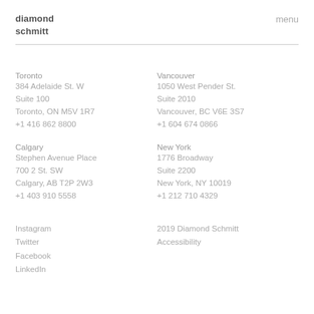diamond schmitt
menu
Toronto
384 Adelaide St. W
Suite 100
Toronto, ON M5V 1R7
+1 416 862 8800
Vancouver
1050 West Pender St.
Suite 2010
Vancouver, BC V6E 3S7
+1 604 674 0866
Calgary
Stephen Avenue Place
700 2 St. SW
Calgary, AB T2P 2W3
+1 403 910 5558
New York
1776 Broadway
Suite 2200
New York, NY 10019
+1 212 710 4329
Instagram
Twitter
Facebook
LinkedIn
2019 Diamond Schmitt
Accessibility